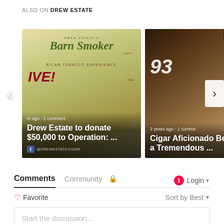ALSO ON DREW ESTATE
[Figure (photo): Two promotional content cards in a carousel. Left card: Drew Estate's Barn Smoker event image with text 'Drew Estate to donate $50,000 to Operation: ...' and '1 comment'. Right card: Cigar Aficionado 93 rating image with a cocktail and cigars, text 'Cigar Aficionado Bestows a Tremendous...' and '2 years ago · 1 comment'. Navigation arrows on left and right sides.]
Comments  Community  🔒  Login
♡ Favorite
Sort by Best ▾
Start the discussion…
LOG IN WITH